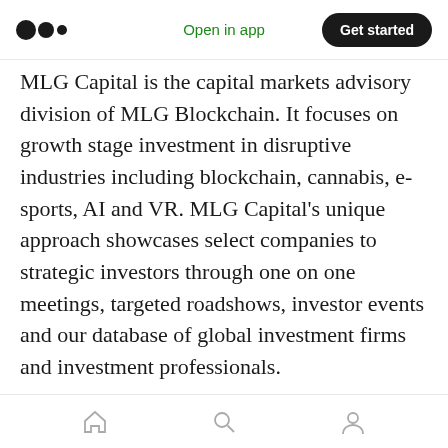Medium logo | Open in app | Get started
MLG Capital is the capital markets advisory division of MLG Blockchain. It focuses on growth stage investment in disruptive industries including blockchain, cannabis, e-sports, AI and VR. MLG Capital’s unique approach showcases select companies to strategic investors through one on one meetings, targeted roadshows, investor events and our database of global investment firms and investment professionals.
About Lucid Crypto Investments
Lucid Crypto Investments is an “East-meets-
Home | Search | Profile